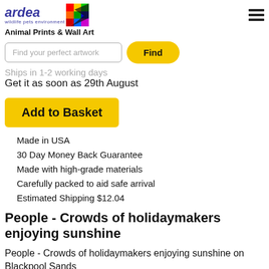ardea wildlife pets environment | Animal Prints & Wall Art
Find your perfect artwork
Ships in 1-2 working days
Get it as soon as 29th August
Add to Basket
Made in USA
30 Day Money Back Guarantee
Made with high-grade materials
Carefully packed to aid safe arrival
Estimated Shipping $12.04
People - Crowds of holidaymakers enjoying sunshine
People - Crowds of holidaymakers enjoying sunshine on Blackpool Sands